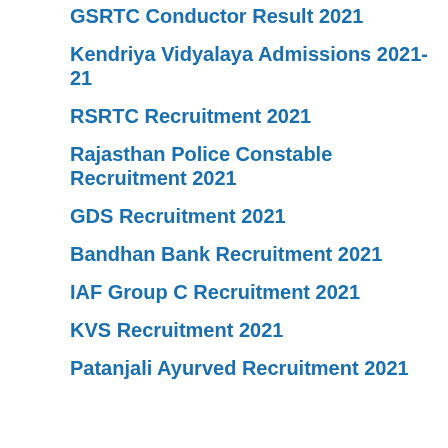GSRTC Conductor Result 2021
Kendriya Vidyalaya Admissions 2021-21
RSRTC Recruitment 2021
Rajasthan Police Constable Recruitment 2021
GDS Recruitment 2021
Bandhan Bank Recruitment 2021
IAF Group C Recruitment 2021
KVS Recruitment 2021
Patanjali Ayurved Recruitment 2021